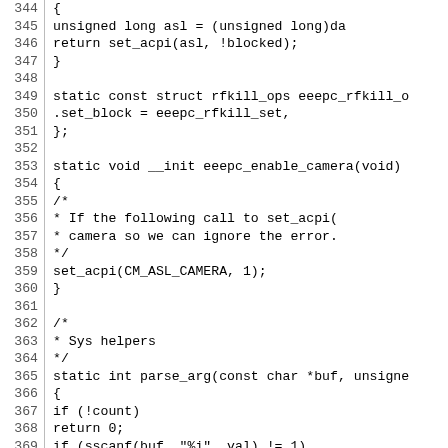[Figure (screenshot): Source code listing showing C code for rfkill and camera functions, lines 344-373, with line numbers on the left and monospace code on the right.]